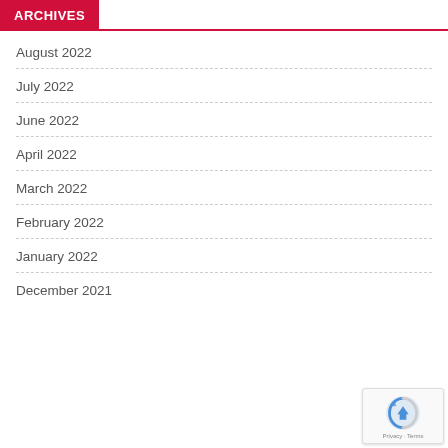ARCHIVES
August 2022
July 2022
June 2022
April 2022
March 2022
February 2022
January 2022
December 2021